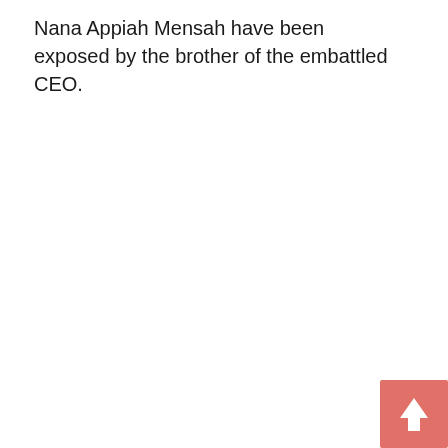Nana Appiah Mensah have been exposed by the brother of the embattled CEO.
[Figure (other): Back-to-top button: a salmon/coral pink square button with a white upward-pointing arrow icon, positioned in the bottom-right corner of the page.]